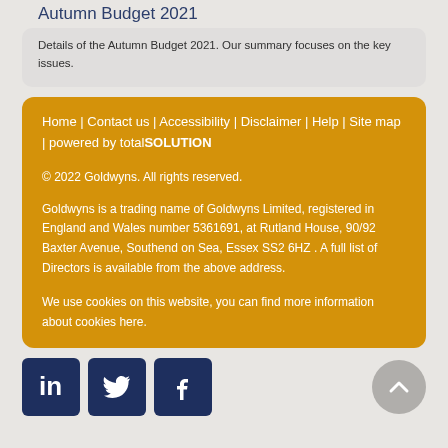Autumn Budget 2021
Details of the Autumn Budget 2021. Our summary focuses on the key issues.
Home | Contact us | Accessibility | Disclaimer | Help | Site map | powered by totalSOLUTION

© 2022 Goldwyns. All rights reserved.

Goldwyns is a trading name of Goldwyns Limited, registered in England and Wales number 5361691, at Rutland House, 90/92 Baxter Avenue, Southend on Sea, Essex SS2 6HZ . A full list of Directors is available from the above address.

We use cookies on this website, you can find more information about cookies here.
[Figure (logo): Social media icons: LinkedIn, Twitter, Facebook; and a back-to-top arrow button]